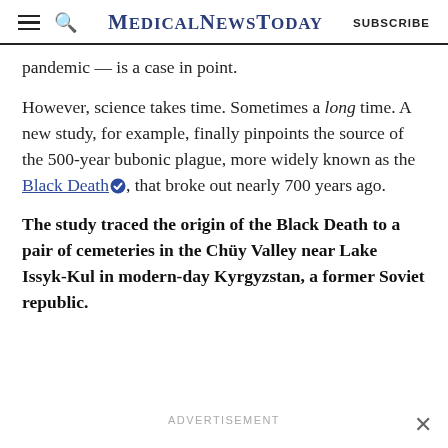MedicalNewsToday | SUBSCRIBE
pandemic — is a case in point.
However, science takes time. Sometimes a long time. A new study, for example, finally pinpoints the source of the 500-year bubonic plague, more widely known as the Black Death, that broke out nearly 700 years ago.
The study traced the origin of the Black Death to a pair of cemeteries in the Chüy Valley near Lake Issyk-Kul in modern-day Kyrgyzstan, a former Soviet republic.
ADVERTISEMENT